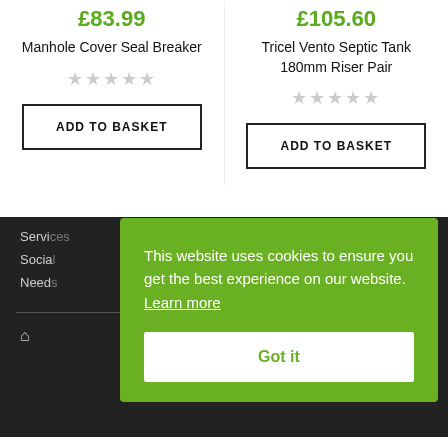£83.99
Manhole Cover Seal Breaker
★★★★★
ADD TO BASKET
£105.60
Tricel Vento Septic Tank 180mm Riser Pair
★★★★★
ADD TO BASKET
Servi
Socia
Need
Estate, Airdrie, ML6 9SE
[Figure (screenshot): Cookie consent popup with green background stating 'This website uses cookies to ensure you get the best experience on our website. Learn more' and a 'Got it' button]